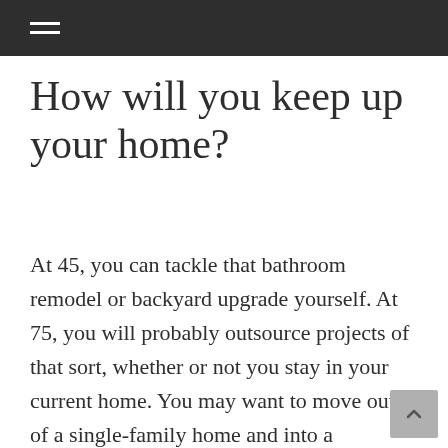☰
How will you keep up your home?
At 45, you can tackle that bathroom remodel or backyard upgrade yourself. At 75, you will probably outsource projects of that sort, whether or not you stay in your current home. You may want to move out of a single-family home and into a townhome or condo for retirement. Regardless of the size of your retirement residence, you should expect to fund minor or major repairs, and you may need to find reliable and affordable sources for gardening or landscaping.